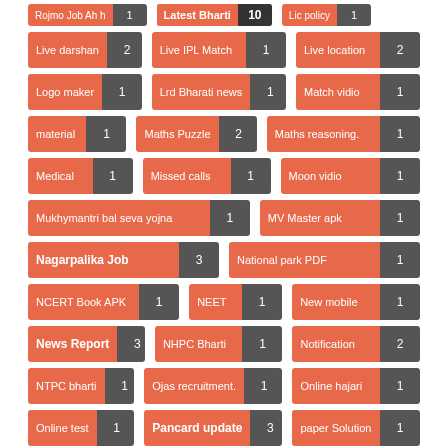Rojmo Job Ah h 1
Latest Bharti 10
Lic policy 1
Live darshan 2
Live IPL Match 1
Live location 2
Logo maker 1
Lrd Bharati news 1
Match vidio 1
material 1
Maths Puzzle 2
Maths reasoning. 1
Medical 1
Missed calls 1
Moon vidio 1
Mukhymantri bal seva yojna 1
MV Master apk 1
Nagarpalika Job 3
National park PDF 1
NCERT Book APK 1
NEET 1
New mobile 1
News Report 3
NHPC Bharti 1
Notification 2
NTPC bharti 1
Ojas recruitment. 1
Online hajari 1
Online test 1
Pancard update 3
paper Solution 1